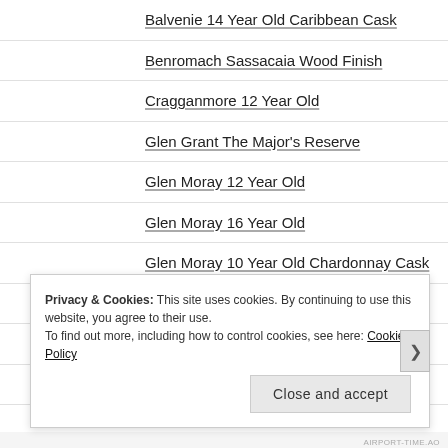Balvenie 14 Year Old Caribbean Cask
Benromach Sassacaia Wood Finish
Cragganmore 12 Year Old
Glen Grant The Major's Reserve
Glen Moray 12 Year Old
Glen Moray 16 Year Old
Glen Moray 10 Year Old Chardonnay Cask
Glen Moray Port Cask Finish
Glenfarclas 105
Glenfiddich 12 Year Old
Privacy & Cookies: This site uses cookies. By continuing to use this website, you agree to their use. To find out more, including how to control cookies, see here: Cookie Policy
AIRPORT-TIME.AO